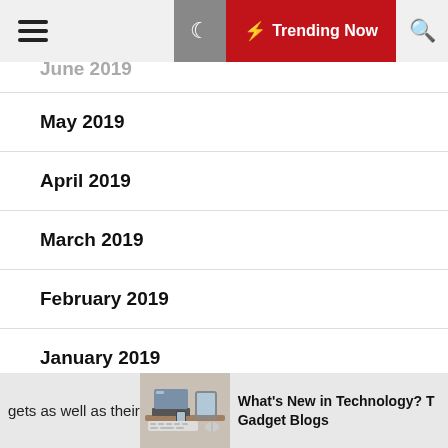Trending Now
June 2019
May 2019
April 2019
March 2019
February 2019
January 2019
December 2018
October 2018
gets as well as their
[Figure (photo): Desk with laptop, tablet, phone and keyboard]
What's New in Technology? T Gadget Blogs